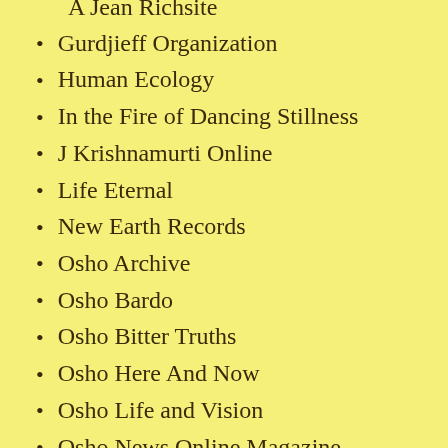A Jean Richsite
Gurdjieff Organization
Human Ecology
In the Fire of Dancing Stillness
J Krishnamurti Online
Life Eternal
New Earth Records
Osho Archive
Osho Bardo
Osho Bitter Truths
Osho Here And Now
Osho Life and Vision
Osho News Online Magazine
Osho Research and Archive Center
Osho Sannyas
Osho World
Osho Zen Stick